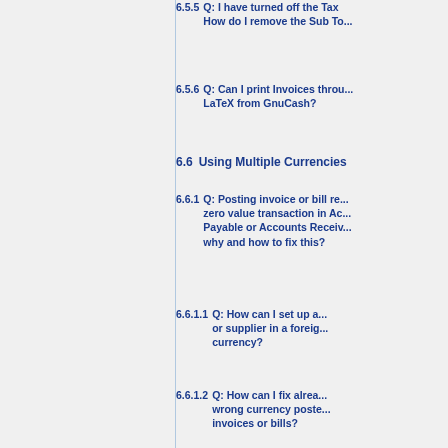6.5.5 Q: I have turned off the Tax ... How do I remove the Sub To...
6.5.6 Q: Can I print Invoices throu... LaTeX from GnuCash?
6.6 Using Multiple Currencies
6.6.1 Q: Posting invoice or bill re... zero value transaction in Ac... Payable or Accounts Receiv... why and how to fix this?
6.6.1.1 Q: How can I set up a... or supplier in a foreig... currency?
6.6.1.2 Q: How can I fix alrea... wrong currency poste... invoices or bills?
6.7 Country/Region specific
6.7.1 Q: I have a small business i... How do I use GnuCash to m... Norwegian standards?
6.7.2 Q: Is GnuCash compliant w... standards of UK Authorities...